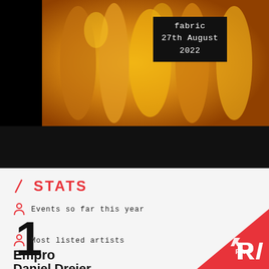[Figure (photo): Golden/amber abstract shapes on black background with event label overlay showing 'fabric 27th August 2022' in white text on dark background]
STATS
Events so far this year
1
Most listed artists
Empro
Daniel Dreier